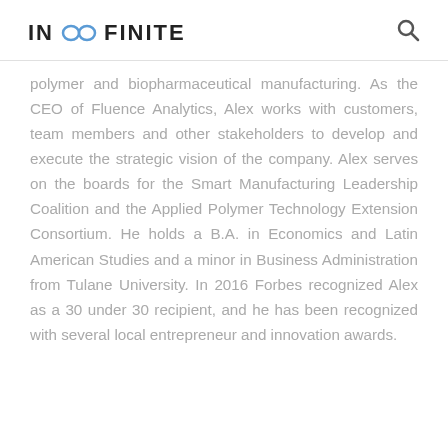IN ∞ FINITE
polymer and biopharmaceutical manufacturing. As the CEO of Fluence Analytics, Alex works with customers, team members and other stakeholders to develop and execute the strategic vision of the company. Alex serves on the boards for the Smart Manufacturing Leadership Coalition and the Applied Polymer Technology Extension Consortium. He holds a B.A. in Economics and Latin American Studies and a minor in Business Administration from Tulane University. In 2016 Forbes recognized Alex as a 30 under 30 recipient, and he has been recognized with several local entrepreneur and innovation awards.